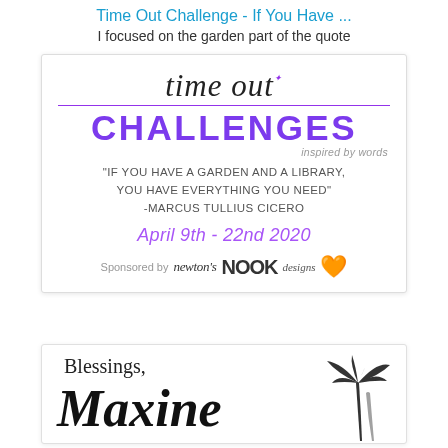Time Out Challenge - If You Have ...
I focused on the garden part of the quote
[Figure (illustration): Time Out Challenges card. Cursive 'time out' text, purple CHALLENGES heading with dots, 'inspired by words' tagline, quote: "If you have a garden and a library, you have everything you need" - Marcus Tullius Cicero, date April 9th - 22nd 2020, Sponsored by Newton's Nook Designs with orange cat logo.]
[Figure (illustration): Blessings card with 'Blessings, Maxine' text in script and a palm tree silhouette on the right.]